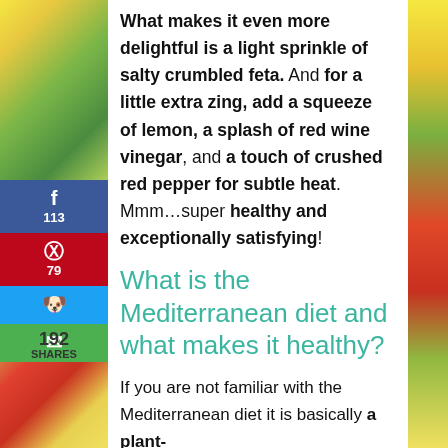What makes it even more delightful is a light sprinkle of salty crumbled feta. And for a little extra zing, add a squeeze of lemon, a splash of red wine vinegar, and a touch of crushed red pepper for subtle heat. Mmm…super healthy and exceptionally satisfying!
What is the Mediterranean diet and what makes it healthy?
If you are not familiar with the Mediterranean diet it is basically a plant-